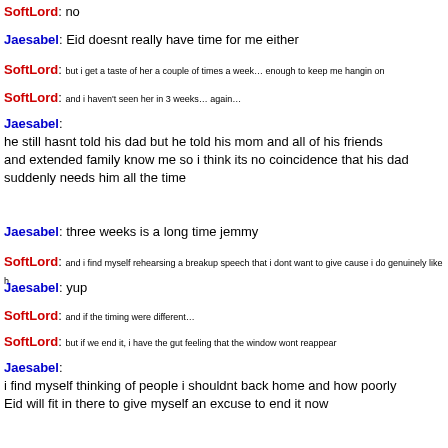SoftLord: no
Jaesabel: Eid doesnt really have time for me either
SoftLord: but i get a taste of her a couple of times a week… enough to keep me hangin on
SoftLord: and i haven't seen her in 3 weeks… again…
Jaesabel: he still hasnt told his dad but he told his mom and all of his friends and extended family know me so i think its no coincidence that his dad suddenly needs him all the time
Jaesabel: three weeks is a long time jemmy
SoftLord: and i find myself rehearsing a breakup speech that i dont want to give cause i do genuinely like h
Jaesabel: yup
SoftLord: and if the timing were different…
SoftLord: but if we end it, i have the gut feeling that the window wont reappear
Jaesabel: i find myself thinking of people i shouldnt back home and how poorly Eid will fit in there to give myself an excuse to end it now